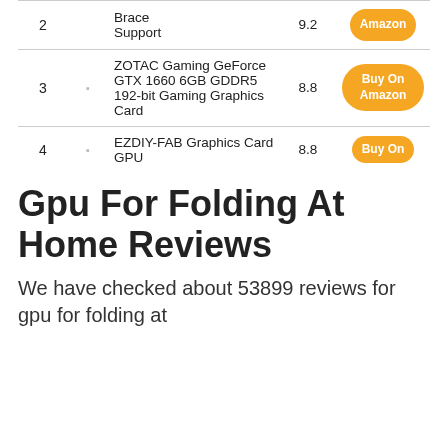| # |  | Product | Score | Buy |
| --- | --- | --- | --- | --- |
| 2 |  | Brace Support | 9.2 | Amazon |
| 3 |  | ZOTAC Gaming GeForce GTX 1660 6GB GDDR5 192-bit Gaming Graphics Card | 8.8 | Buy On Amazon |
| 4 |  | EZDIY-FAB Graphics Card GPU | 8.8 | Buy On |
Gpu For Folding At Home Reviews
We have checked about 53899 reviews for gpu for folding at